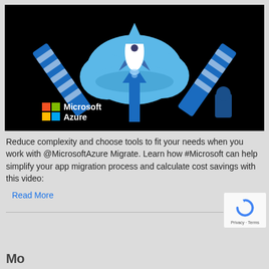[Figure (illustration): Microsoft Azure promotional illustration on black background showing a cloud with a rocket launching upward, flanked by two crane/ramp structures in blue tones. Microsoft Azure logo with colorful Windows flag icon visible in bottom left of image.]
Reduce complexity and choose tools to fit your needs when you work with @MicrosoftAzure Migrate. Learn how #Microsoft can help simplify your app migration process and calculate cost savings with this video:
Read More
[Figure (logo): reCAPTCHA badge with blue circular arrow icon and Privacy - Terms text]